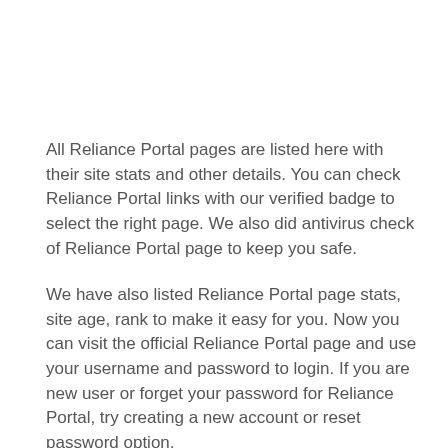All Reliance Portal pages are listed here with their site stats and other details. You can check Reliance Portal links with our verified badge to select the right page. We also did antivirus check of Reliance Portal page to keep you safe.
We have also listed Reliance Portal page stats, site age, rank to make it easy for you. Now you can visit the official Reliance Portal page and use your username and password to login. If you are new user or forget your password for Reliance Portal, try creating a new account or reset password option.